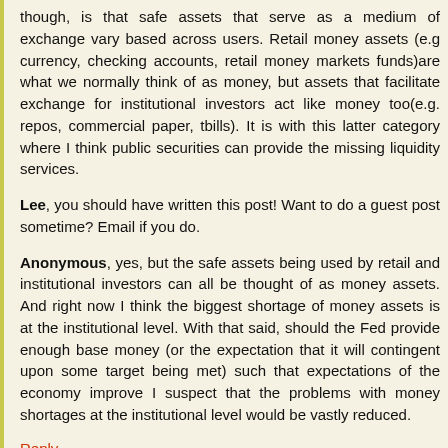though, is that safe assets that serve as a medium of exchange vary based across users. Retail money assets (e.g currency, checking accounts, retail money markets funds)are what we normally think of as money, but assets that facilitate exchange for institutional investors act like money too(e.g. repos, commercial paper, tbills). It is with this latter category where I think public securities can provide the missing liquidity services.
Lee, you should have written this post! Want to do a guest post sometime? Email if you do.
Anonymous, yes, but the safe assets being used by retail and institutional investors can all be thought of as money assets. And right now I think the biggest shortage of money assets is at the institutional level. With that said, should the Fed provide enough base money (or the expectation that it will contingent upon some target being met) such that expectations of the economy improve I suspect that the problems with money shortages at the institutional level would be vastly reduced.
Reply